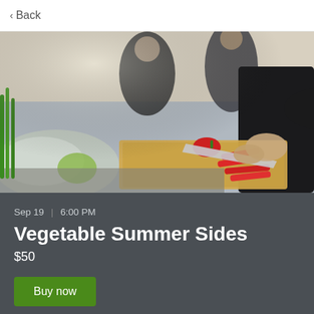< Back
[Figure (photo): Person slicing red bell peppers on a wooden cutting board in a kitchen setting. Other people are visible in the background. Glass bowls and a lime are also on the counter.]
Sep 19  |  6:00 PM
Vegetable Summer Sides
$50
Buy now